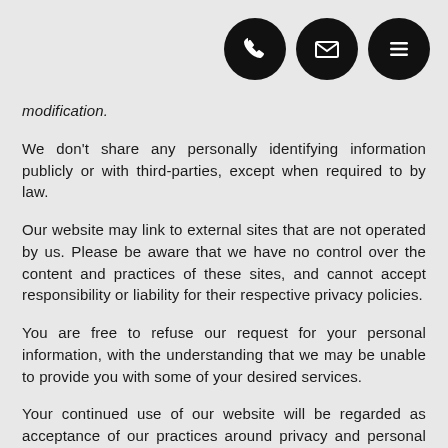[Figure (other): Three black circular icon buttons in top-right corner: phone/call icon, email/envelope icon, and hamburger menu icon]
modification.
We don't share any personally identifying information publicly or with third-parties, except when required to by law.
Our website may link to external sites that are not operated by us. Please be aware that we have no control over the content and practices of these sites, and cannot accept responsibility or liability for their respective privacy policies.
You are free to refuse our request for your personal information, with the understanding that we may be unable to provide you with some of your desired services.
Your continued use of our website will be regarded as acceptance of our practices around privacy and personal information. If you have any questions about how we handle user data and personal information, feel free to contact us.